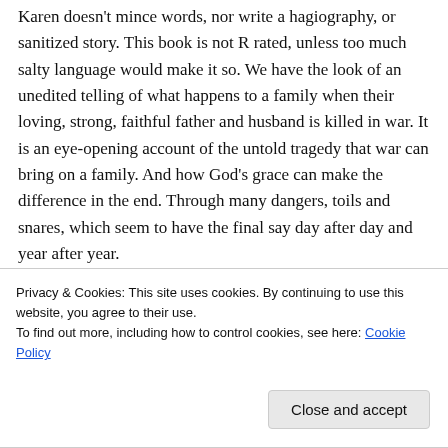Karen doesn't mince words, nor write a hagiography, or sanitized story. This book is not R rated, unless too much salty language would make it so. We have the look of an unedited telling of what happens to a family when their loving, strong, faithful father and husband is killed in war. It is an eye-opening account of the untold tragedy that war can bring on a family. And how God's grace can make the difference in the end. Through many dangers, toils and snares, which seem to have the final say day after day and year after year.
[Figure (photo): Row of four circular avatar photos of people, partially visible at the bottom of the main content area]
Privacy & Cookies: This site uses cookies. By continuing to use this website, you agree to their use.
To find out more, including how to control cookies, see here: Cookie Policy